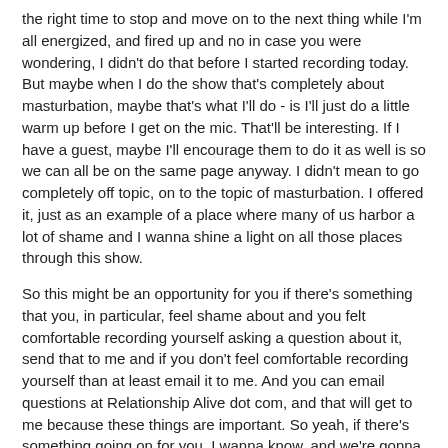the right time to stop and move on to the next thing while I'm all energized, and fired up and no in case you were wondering, I didn't do that before I started recording today. But maybe when I do the show that's completely about masturbation, maybe that's what I'll do - is I'll just do a little warm up before I get on the mic. That'll be interesting. If I have a guest, maybe I'll encourage them to do it as well is so we can all be on the same page anyway. I didn't mean to go completely off topic, on to the topic of masturbation. I offered it, just as an example of a place where many of us harbor a lot of shame and I wanna shine a light on all those places through this show.
So this might be an opportunity for you if there's something that you, in particular, feel shame about and you felt comfortable recording yourself asking a question about it, send that to me and if you don't feel comfortable recording yourself than at least email it to me. And you can email questions at Relationship Alive dot com, and that will get to me because these things are important. So yeah, if there's something going on for you, I wanna know, and we're gonna shine a light not on you, I'm not gonna put the spotlight on you but we're gonna shine a light on the thing because guaranteed, you are probably not experiencing something that no one else is experiencing or that no one else has experienced. A friend of mine on Facebook the other day, and I'm trying not to be on Facebook all that much these days, 'cause it's a bit of a shit show, but a friend of mine on Facebook said "post something down below in the comments that you're sure no other of my friends has ever done that you've experienced."
And people said things, and I was like "Wow, you didn't know? A lot of the...